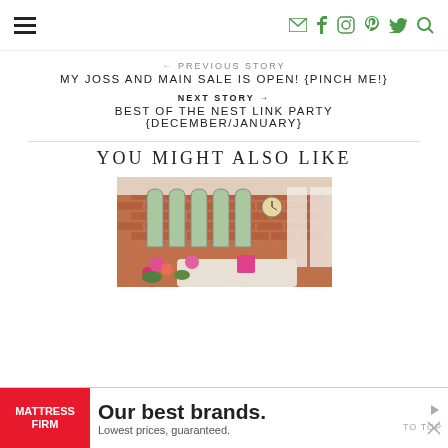Navigation bar with hamburger menu and social icons (email, facebook, instagram, pinterest, twitter, search)
← PREVIOUS STORY
MY JOSS AND MAIN SALE IS OPEN! {PINCH ME!}
NEXT STORY →
BEST OF THE NEST LINK PARTY {DECEMBER/JANUARY}
YOU MIGHT ALSO LIKE
[Figure (photo): Exterior porch of a brick house with arched windows, a clock, white drapes, and colorful flowers on a couch]
[Figure (infographic): Advertisement banner for Mattress Firm: 'Our best brands. Lowest prices, guaranteed.']